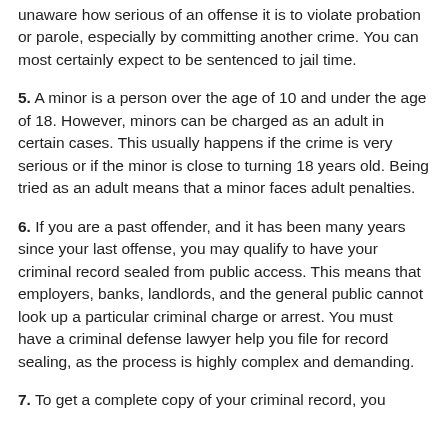unaware how serious of an offense it is to violate probation or parole, especially by committing another crime. You can most certainly expect to be sentenced to jail time.
5. A minor is a person over the age of 10 and under the age of 18. However, minors can be charged as an adult in certain cases. This usually happens if the crime is very serious or if the minor is close to turning 18 years old. Being tried as an adult means that a minor faces adult penalties.
6. If you are a past offender, and it has been many years since your last offense, you may qualify to have your criminal record sealed from public access. This means that employers, banks, landlords, and the general public cannot look up a particular criminal charge or arrest. You must have a criminal defense lawyer help you file for record sealing, as the process is highly complex and demanding.
7. To get a complete copy of your criminal record, you